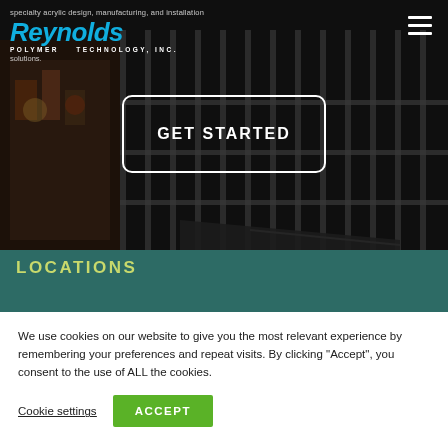Reynolds Polymer Technology, Inc. — specialty acrylic design, manufacturing, and installation solutions.
[Figure (screenshot): Hero background image showing a building facade with vertical metal bars/panels, partially obscured by dark overlay. A decorative carousel or mural is visible on the left side.]
GET STARTED
Locations
We use cookies on our website to give you the most relevant experience by remembering your preferences and repeat visits. By clicking “Accept”, you consent to the use of ALL the cookies.
Cookie settings
ACCEPT